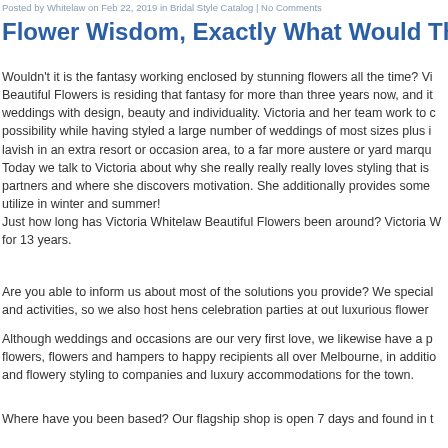Posted by Whitelaw on Feb 22, 2019 in Bridal Style Catalog | No Comments
Flower Wisdom, Exactly What Would They Under...
Wouldn't it is the fantasy working enclosed by stunning flowers all the time? Victoria Whitelaw Beautiful Flowers is residing that fantasy for more than three years now, and it's all about styling weddings with design, beauty and individuality. Victoria and her team work to create the most remarkable possibility while having styled a large number of weddings of most sizes plus in each area; from lavish in an extra resort or occasion area, to a far more austere or yard marquee. Today we talk to Victoria about why she really really really loves styling that is working with couples and partners and where she discovers motivation. She additionally provides some flower wisdom on the best blossoms to utilize in winter and summer!
Just how long has Victoria Whitelaw Beautiful Flowers been around? Victoria Whitelaw has been running for 13 years.
Are you able to inform us about most of the solutions you provide? We specialize in wedding flowers and activities, so we also host hens celebration parties at out luxurious flower...
Although weddings and occasions are our very first love, we likewise have a passion for delivering flowers, flowers and hampers to happy recipients all over Melbourne, in addition to corporate flowers and flowery styling to companies and luxury accommodations for the town.
Where have you been based? Our flagship shop is open 7 days and found in t...